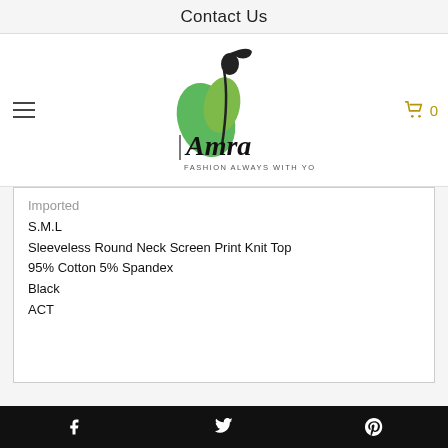Contact Us
[Figure (logo): Amra Fashion logo — stylized female figure with green leaf, script text 'Amra' and 'FASHION ALWAYS WITH YOU']
Imported
S.M.L
Sleeveless Round Neck Screen Print Knit Top
95% Cotton 5% Spandex
Black
ACT
Facebook  Twitter  Pinterest